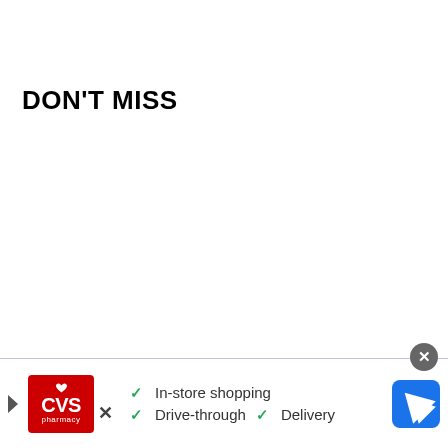DON'T MISS
[Figure (other): CVS Pharmacy advertisement banner at the bottom of the page showing CVS logo, checkmarks for In-store shopping, Drive-through, and Delivery, with a navigation icon]